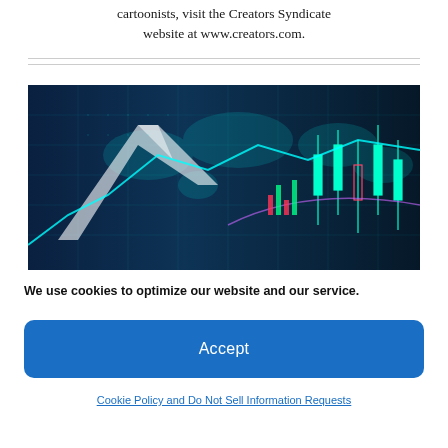cartoonists, visit the Creators Syndicate website at www.creators.com.
[Figure (photo): Financial market data visualization showing glowing cyan stock charts, candlestick patterns, and world map overlay on dark blue background with neon grid lines]
We use cookies to optimize our website and our service.
Accept
Cookie Policy and Do Not Sell Information Requests